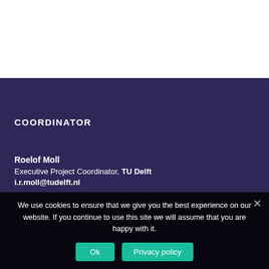COORDINATOR
Roelof Moll
Executive Project Coordinator, TU Delft
i.r.moll@tudelft.nl
We use cookies to ensure that we give you the best experience on our website. If you continue to use this site we will assume that you are happy with it.
Ok  Privacy policy